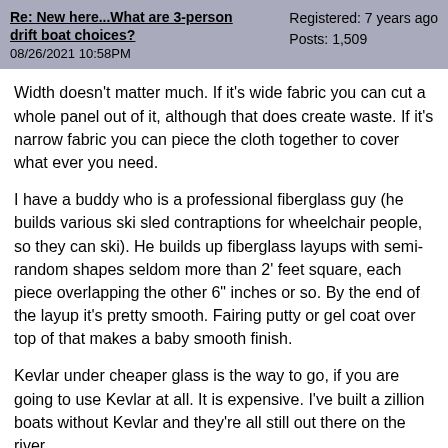Re: New here...What are 3-person drift boat choices? 08/26/2021 10:58PM | Registered: 7 years ago Posts: 1,509
Width doesn't matter much. If it's wide fabric you can cut a whole panel out of it, although that does create waste. If it's narrow fabric you can piece the cloth together to cover what ever you need.
I have a buddy who is a professional fiberglass guy (he builds various ski sled contraptions for wheelchair people, so they can ski). He builds up fiberglass layups with semi-random shapes seldom more than 2' feet square, each piece overlapping the other 6" inches or so. By the end of the layup it's pretty smooth. Fairing putty or gel coat over top of that makes a baby smooth finish.
Kevlar under cheaper glass is the way to go, if you are going to use Kevlar at all. It is expensive. I've built a zillion boats without Kevlar and they're all still out there on the river.
Some biaxial fabrics are harder to wet out than others. For the heavy biaxial tapes some people use over the